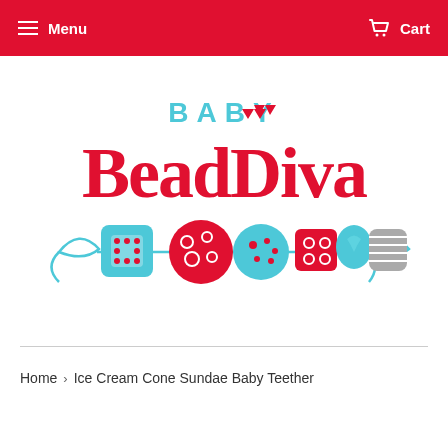Menu  Cart
[Figure (logo): Baby Bead Diva logo with colorful beads on a bracelet string]
Home › Ice Cream Cone Sundae Baby Teether